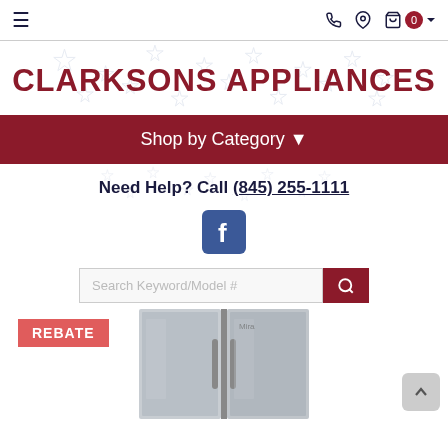≡  [phone] [location] [cart] 0
CLARKSONS APPLIANCES
Shop by Category ▾
Need Help? Call (845) 255-1111
[Figure (logo): Facebook logo icon]
[Figure (screenshot): Search bar with placeholder text 'Search Keyword/Model #' and a red search button]
[Figure (photo): Refrigerator product image with a red REBATE badge in the top-left corner]